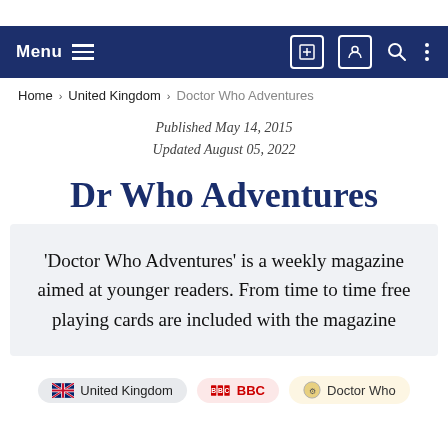Menu navigation bar with icons
Home › United Kingdom › Doctor Who Adventures
Published May 14, 2015
Updated August 05, 2022
Dr Who Adventures
'Doctor Who Adventures' is a weekly magazine aimed at younger readers. From time to time free playing cards are included with the magazine
United Kingdom   BBC   Doctor Who